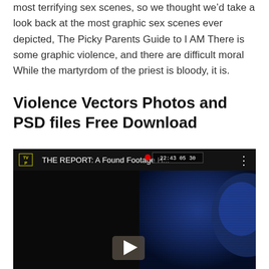most terrifying sex scenes, so we thought we’d take a look back at the most graphic sex scenes ever depicted, The Picky Parents Guide to I AM There is some graphic violence, and there are difficult moral While the martyrdom of the priest is bloody, it is.
Violence Vectors Photos and PSD files Free Download
[Figure (screenshot): YouTube video player showing 'THE REPORT: A Found Footage H...' with a dark found-footage style frame of a person's face illuminated in blue, with a red REC dot and timestamp overlay '22:43 05 30', and a play button in the center.]